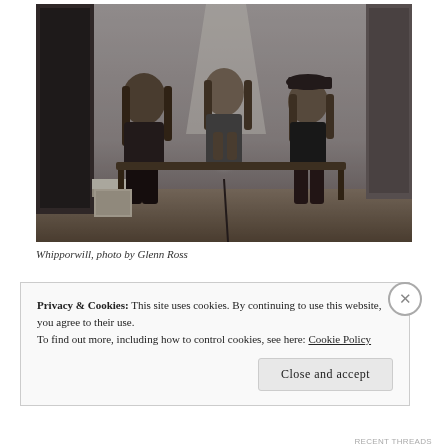[Figure (photo): Black and white photograph of three people (two with long hair, one wearing a cap) sitting on a bench/chairs in a room, gathered around a glowing light bulb. The image is moody and dramatic, lit by the bulb's glow against a plain wall background.]
Whipporwill, photo by Glenn Ross
Privacy & Cookies: This site uses cookies. By continuing to use this website, you agree to their use.
To find out more, including how to control cookies, see here: Cookie Policy